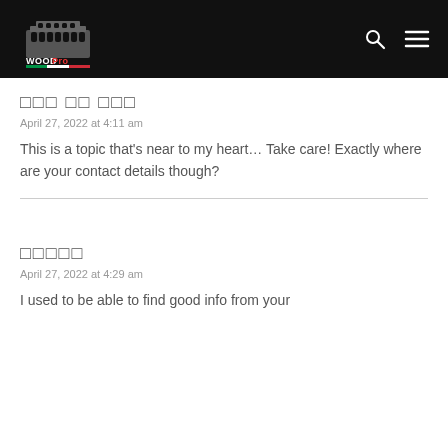[Figure (logo): WoodPro logo with Colosseum graphic and Italian flag colors, on black header bar with search and menu icons]
□□□ □□ □□□
April 27, 2022 at 4:11 am
This is a topic that’s near to my heart… Take care! Exactly where are your contact details though?
□□□□□
April 27, 2022 at 4:29 am
I used to be able to find good info from your